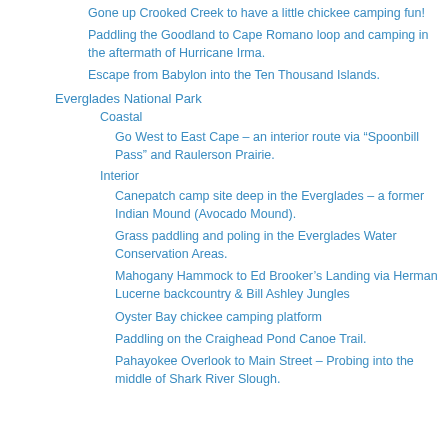Gone up Crooked Creek to have a little chickee camping fun!
Paddling the Goodland to Cape Romano loop and camping in the aftermath of Hurricane Irma.
Escape from Babylon into the Ten Thousand Islands.
Everglades National Park
Coastal
Go West to East Cape – an interior route via “Spoonbill Pass” and Raulerson Prairie.
Interior
Canepatch camp site deep in the Everglades – a former Indian Mound (Avocado Mound).
Grass paddling and poling in the Everglades Water Conservation Areas.
Mahogany Hammock to Ed Brooker’s Landing via Herman Lucerne backcountry & Bill Ashley Jungles
Oyster Bay chickee camping platform
Paddling on the Craighead Pond Canoe Trail.
Pahayokee Overlook to Main Street – Probing into the middle of Shark River Slough.